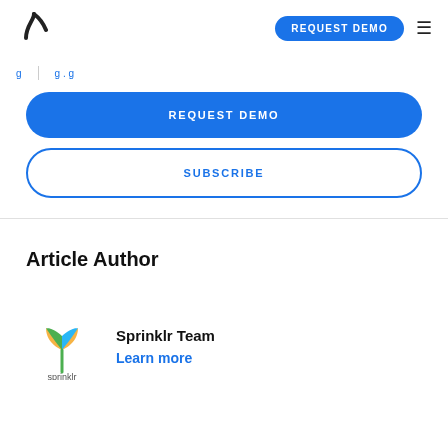Sprinklr logo | REQUEST DEMO | Menu
…g … g…g…
REQUEST DEMO
SUBSCRIBE
Article Author
Sprinklr Team
Learn more